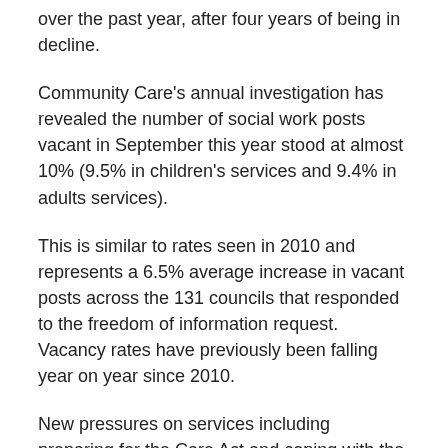over the past year, after four years of being in decline.
Community Care's annual investigation has revealed the number of social work posts vacant in September this year stood at almost 10% (9.5% in children's services and 9.4% in adults services).
This is similar to rates seen in 2010 and represents a 6.5% average increase in vacant posts across the 131 councils that responded to the freedom of information request. Vacancy rates have previously been falling year on year since 2010.
New pressures on services including preparing for the Care Act and coping with the rise in Deprivation of Liberty Safeguards (DoLS) assessments may have accounted for the spike in adults' services vacancies, but the parallel rise in children's services has left directors baffled.
Dave Hill, workforce development chair for the Association